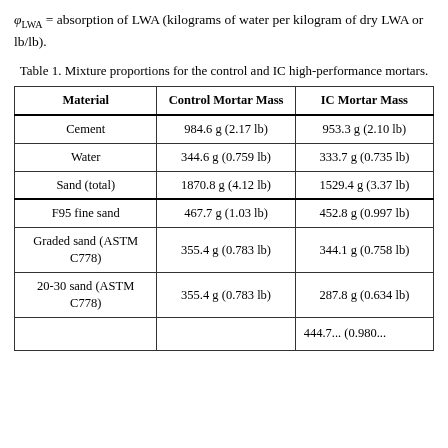Table 1. Mixture proportions for the control and IC high-performance mortars.
| Material | Control Mortar Mass | IC Mortar Mass |
| --- | --- | --- |
| Cement | 984.6 g (2.17 lb) | 953.3 g (2.10 lb) |
| Water | 344.6 g (0.759 lb) | 333.7 g (0.735 lb) |
| Sand (total) | 1870.8 g (4.12 lb) | 1529.4 g (3.37 lb) |
| F95 fine sand | 467.7 g (1.03 lb) | 452.8 g (0.997 lb) |
| Graded sand (ASTM C778) | 355.4 g (0.783 lb) | 344.1 g (0.758 lb) |
| 20-30 sand (ASTM C778) | 355.4 g (0.783 lb) | 287.8 g (0.634 lb) |